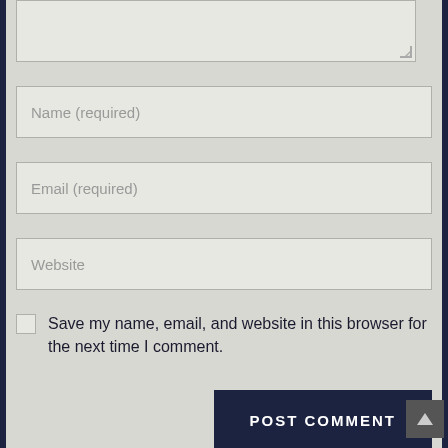[Figure (screenshot): A web comment form showing a textarea (partially visible at top), Name (required) input, Email (required) input, Website input, a save-info checkbox with label, and a POST COMMENT button on a light gray background with dark navy border/background.]
Name (required)
Email (required)
Website
Save my name, email, and website in this browser for the next time I comment.
POST COMMENT